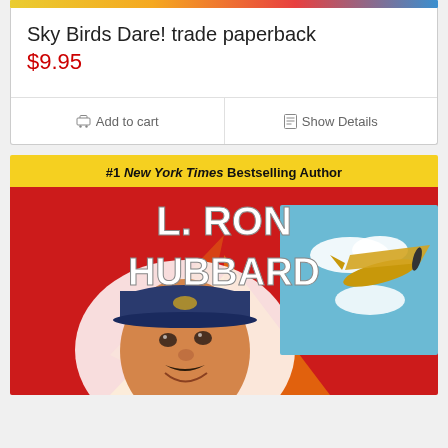[Figure (screenshot): Top color strip image from product listing page]
Sky Birds Dare! trade paperback
$9.95
Add to cart | Show Details
[Figure (illustration): Book cover for Sky Birds Dare! by L. Ron Hubbard. Yellow banner at top reads '#1 New York Times Bestselling Author'. Large white block letters on red background read 'L. RON HUBBARD'. Below is an illustration of a smiling pilot in uniform with a vintage airplane on the right side against a blue sky.]